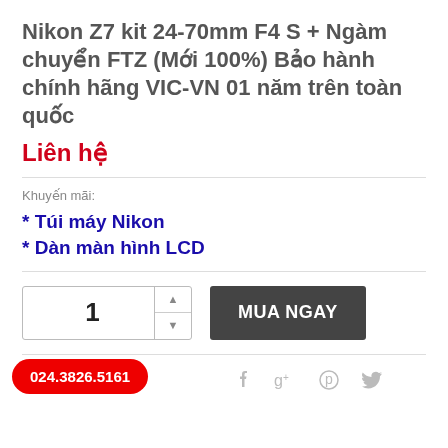Nikon Z7 kit 24-70mm F4 S + Ngàm chuyển FTZ (Mới 100%) Bảo hành chính hãng VIC-VN 01 năm trên toàn quốc
Liên hệ
Khuyến mãi:
* Túi máy Nikon
* Dàn màn hình LCD
[Figure (other): Quantity selector showing '1' with up/down arrows, and a dark 'MUA NGAY' buy button]
[Figure (other): Social sharing icons: Facebook, Google+, Pinterest, Twitter; red phone pill button showing 024.3826.5161]